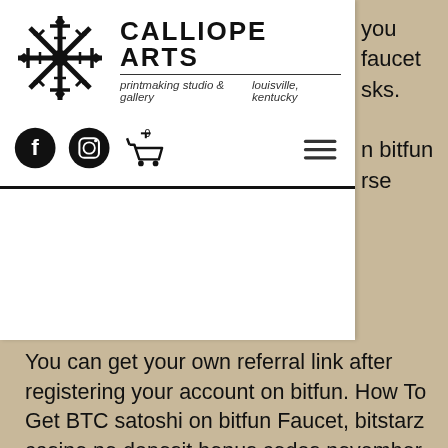[Figure (logo): Calliope Arts logo: sunburst/snowflake style black graphic icon]
CALLIOPE ARTS
printmaking studio & gallery
louisville, kentucky
[Figure (infographic): Navigation icons: Facebook circle icon, Instagram circle icon, shopping cart with 0, hamburger menu lines]
you faucet sks. n bitfun rse
You can get your own referral link after registering your account on bitfun. How To Get BTC satoshi on bitfun Faucet, bitstarz casino no deposit bonus codes november 2021. So, if the site gets more visitors and if each visitor spends more time on the site, the site owner gets more money from the displayed ads, bitstarz casino no deposit bonus codes november 2021. While there are few mainstream commercial applications, the currency has gained traction as an Internet tipping system, in which social media users grant Dogecoin tips to other users for providing interesting or noteworthy content, bitstarz bitcoin casino no